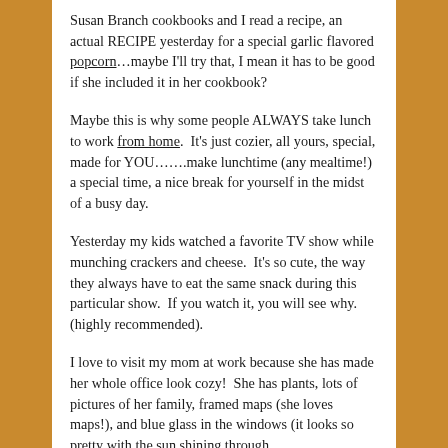Susan Branch cookbooks and I read a recipe, an actual RECIPE yesterday for a special garlic flavored popcorn...maybe I'll try that, I mean it has to be good if she included it in her cookbook?
Maybe this is why some people ALWAYS take lunch to work from home.  It's just cozier, all yours, special, made for YOU.......make lunchtime (any mealtime!) a special time, a nice break for yourself in the midst of a busy day.
Yesterday my kids watched a favorite TV show while munching crackers and cheese.  It's so cute, the way they always have to eat the same snack during this particular show.  If you watch it, you will see why.  (highly recommended).
I love to visit my mom at work because she has made her whole office look cozy!  She has plants, lots of pictures of her family, framed maps (she loves maps!), and blue glass in the windows (it looks so pretty with the sun shining through.